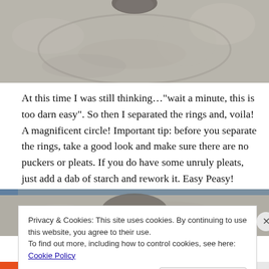[Figure (photo): Top portion of a photo showing a circular felt/fabric piece on a gray stone/concrete surface, partial view cut off at top]
At this time I was still thinking…"wait a minute, this is too darn easy". So then I separated the rings and, voila! A magnificent circle! Important tip: before you separate the rings, take a good look and make sure there are no puckers or pleats. If you do have some unruly pleats, just add a dab of starch and rework it. Easy Peasy!
[Figure (photo): Bottom portion of a photo showing a circular felt/fabric piece on a gray stone/concrete surface, partially obscured by cookie banner]
Privacy & Cookies: This site uses cookies. By continuing to use this website, you agree to their use.
To find out more, including how to control cookies, see here: Cookie Policy
Close and accept